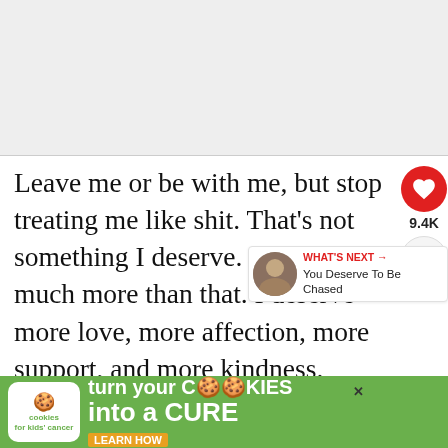[Figure (photo): Gray placeholder image area at top of page (image content not visible)]
Leave me or be with me, but stop treating me like shit. That’s not something I deserve. I deserve much more than that. I deserve more love, more affection, more support, and more kindness.
[Figure (infographic): Social media sidebar with heart button (red circle with heart icon), 9.4K count, share button. Also a 'WHAT'S NEXT' recommendation panel with thumbnail and text 'You Deserve To Be Chased'.]
[Figure (infographic): Advertisement banner: cookies for kids cancer - 'turn your COOKIES into a CURE LEARN HOW' on green background with white cookies logo]